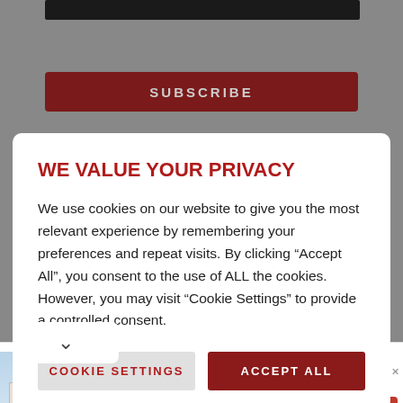[Figure (screenshot): Dark top banner bar on grey background]
SUBSCRIBE
WE VALUE YOUR PRIVACY
We use cookies on our website to give you the most relevant experience by remembering your preferences and repeat visits. By clicking “Accept All”, you consent to the use of ALL the cookies. However, you may visit “Cookie Settings” to provide a controlled consent.
COOKIE SETTINGS
ACCEPT ALL
[Figure (screenshot): Advertisement banner for Firestone oil change service with building photo, title 'Get An Oil Change Near You', subtitle 'We Are Your Complete Car Care People.', and Learn More button]